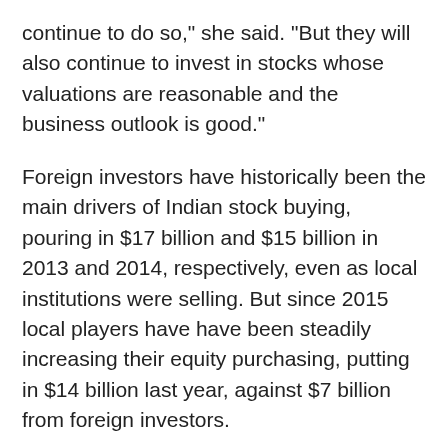continue to do so," she said. "But they will also continue to invest in stocks whose valuations are reasonable and the business outlook is good."
Foreign investors have historically been the main drivers of Indian stock buying, pouring in $17 billion and $15 billion in 2013 and 2014, respectively, even as local institutions were selling. But since 2015 local players have have been steadily increasing their equity purchasing, putting in $14 billion last year, against $7 billion from foreign investors.
“This has changed the equation in favour of DIIs [domestic institutional investors]," said Jain. "Over the last many months, while FIIs had been selling Indian equities, for the first time, DIIs have been able to more than offset the [foreign investor] outflows and invest in good-quality